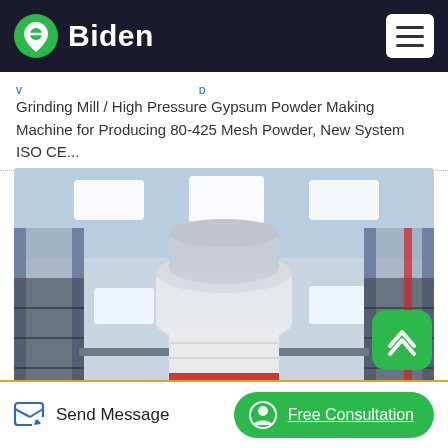Biden
Grinding Mill / High Pressure Gypsum Powder Making Machine for Producing 80-425 Mesh Powder, New System ISO CE...
[Figure (photo): Industrial grinding mill machine (high pressure gypsum powder making machine) inside a large factory warehouse with steel structure and overhead lighting.]
Send Message
Free Consultation